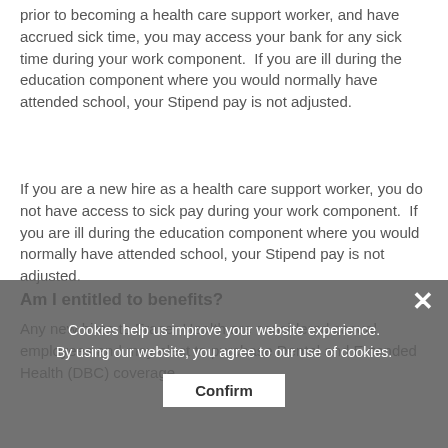prior to becoming a health care support worker, and have accrued sick time, you may access your bank for any sick time during your work component.  If you are ill during the education component where you would normally have attended school, your Stipend pay is not adjusted.
If you are a new hire as a health care support worker, you do not have access to sick pay during your work component.  If you are ill during the education component where you would normally have attended school, your Stipend pay is not adjusted.
Am I entitled to benefits?
Any new hires to Fraser Health are considered casual employees and may elect to purchase Dental and Extended Health (DBC) coverage